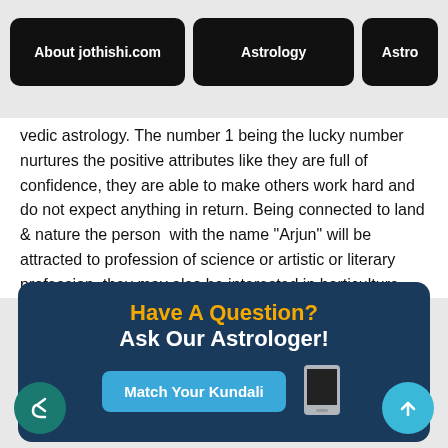About jothishi.com | Astrology | Astro
vedic astrology. The number 1 being the lucky number nurtures the positive attributes like they are full of confidence, they are able to make others work hard and do not expect anything in return. Being connected to land & nature the person with the name "Arjun" will be attracted to profession of science or artistic or literary profession, they may also be interested in horticulture.
[Figure (infographic): Dark blue banner advertisement with text 'Have A Question? Ask Our Astrologer!' in orange and white bold text, a 'Match Your Kundali' button in blue, and a hand holding a phone graphic.]